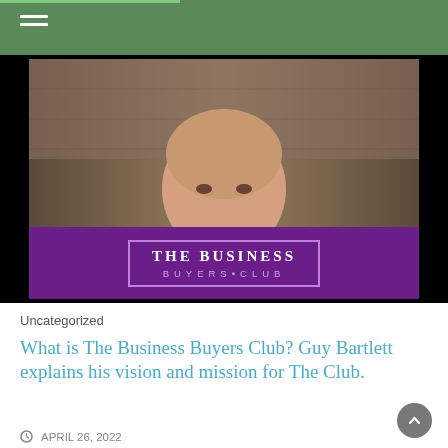[Figure (screenshot): Video thumbnail showing a middle-aged bald man in a white shirt, with a purple lower-third bar bearing the text THE BUSINESS BUYERS CLUB logo in a bordered white rectangle]
Uncategorized
What is The Business Buyers Club? Guy Bartlett explains his vision and mission for The Club.
APRIL 26, 2022